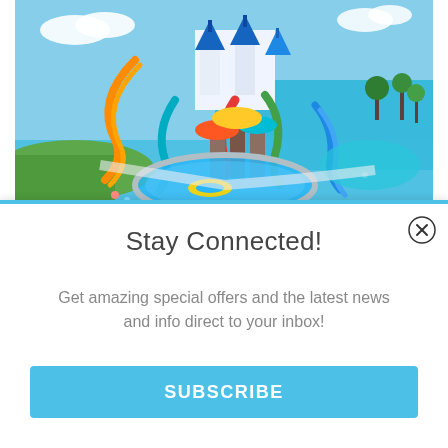[Figure (photo): Aerial view of a colorful water park resort with slides, pools, and a castle-like building, surrounded by blue water and greenery.]
Stay Connected!
Get amazing special offers and the latest news and info direct to your inbox!
SUBSCRIBE